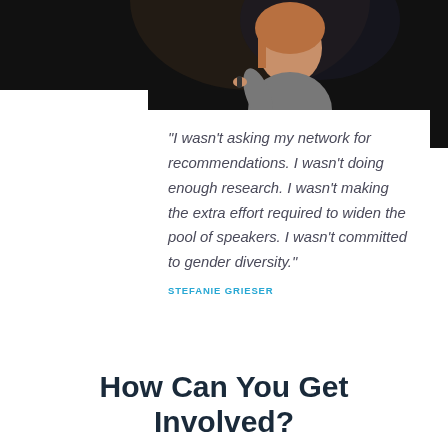[Figure (photo): Woman on stage holding a microphone, photographed against a dark background]
"I wasn't asking my network for recommendations. I wasn't doing enough research. I wasn't making the extra effort required to widen the pool of speakers. I wasn't committed to gender diversity."
STEFANIE GRIESER
How Can You Get Involved?